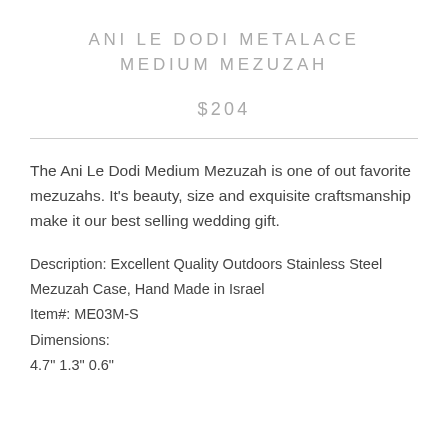ANI LE DODI METALACE MEDIUM MEZUZAH
$204
The Ani Le Dodi Medium Mezuzah is one of out favorite mezuzahs. It's beauty, size and exquisite craftsmanship make it our best selling wedding gift.
Description: Excellent Quality Outdoors Stainless Steel Mezuzah Case, Hand Made in Israel
Item#: ME03M-S
Dimensions:
4.7" 1.3" 0.6"